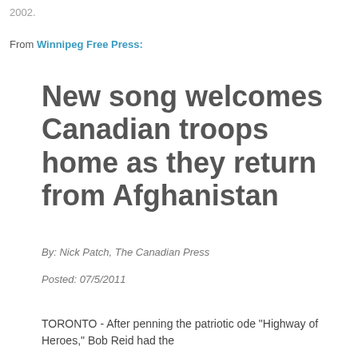2002.
From Winnipeg Free Press:
New song welcomes Canadian troops home as they return from Afghanistan
By: Nick Patch, The Canadian Press
Posted: 07/5/2011
TORONTO - After penning the patriotic ode "Highway of Heroes," Bob Reid had the